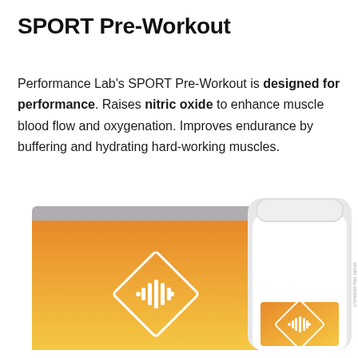SPORT Pre-Workout
Performance Lab's SPORT Pre-Workout is designed for performance. Raises nitric oxide to enhance muscle blood flow and oxygenation. Improves endurance by buffering and hydrating hard-working muscles.
[Figure (photo): Product photo showing Performance Lab SPORT Pre-Workout box and supplement bottle. The box and bottle label feature an orange-to-yellow gradient with a diamond-shaped logo containing a waveform graphic. The bottle is white with a white cap. Both are displayed on a white background.]